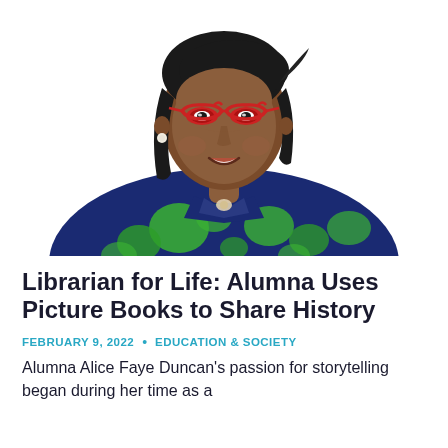[Figure (photo): Portrait of a woman wearing red cat-eye glasses and a navy blue floral blouse with green flowers, smiling, with dark straight hair, pearl earring visible, white background.]
Librarian for Life: Alumna Uses Picture Books to Share History
FEBRUARY 9, 2022  •  EDUCATION & SOCIETY
Alumna Alice Faye Duncan's passion for storytelling began during her time as a